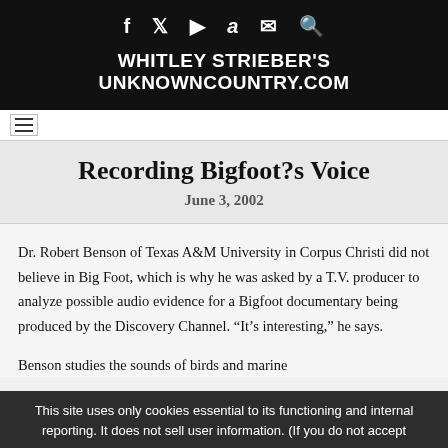f  twitter  youtube  amazon  mail  search
WHITLEY STRIEBER'S UNKNOWNCOUNTRY.COM
Recording Bigfoot?s Voice
June 3, 2002
Dr. Robert Benson of Texas A&M University in Corpus Christi did not believe in Big Foot, which is why he was asked by a T.V. producer to analyze possible audio evidence for a Bigfoot documentary being produced by the Discovery Channel. “It’s interesting,” he says.
Benson studies the sounds of birds and marine
This site uses only cookies essential to its functioning and internal reporting. It does not sell user information. (If you do not accept